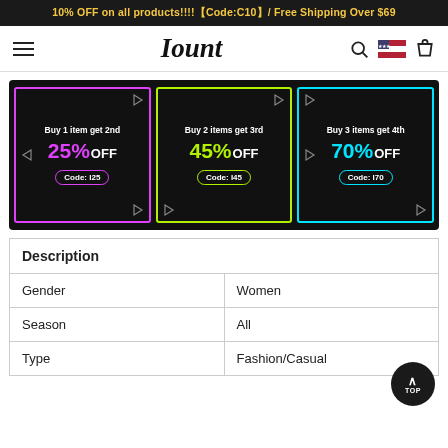10% OFF on all products!!!!【Code:C10】/ Free Shipping Over $69
Iount
[Figure (infographic): Promotional banner with three neon-bordered panels on black background. Left panel (pink/magenta border): Buy 1 item get 2nd 25% OFF, Code: I25. Middle panel (green/yellow border): Buy 2 items get 3rd 45% OFF, Code: I45. Right panel (cyan border): Buy 3 items get 4th 70% OFF, Code: I70.]
| Description |
| --- |
| Gender | Women |
| Season | All |
| Type | Fashion/Casual |